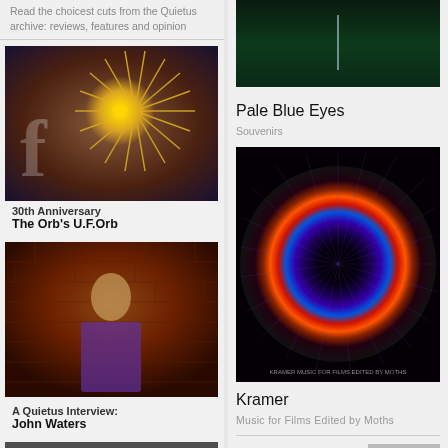Read the choicest cuts from the Quietus archive: reviews, features and opinion
[Figure (photo): Photo with starburst decoration - The Orb's U.F.Orb 30th Anniversary]
30th Anniversary
The Orb's U.F.Orb
[Figure (photo): Photo of John Waters in colorful patterned jacket against brick wall]
A Quietus Interview:
John Waters
[Figure (photo): Black and white band photo]
[Figure (photo): Dark green photo - Pale Blue Eyes Souvenirs album]
Pale Blue Eyes
Souvenirs
[Figure (photo): Kramer - Music for Films Edited by Moths album art showing colorful eye/iris]
Kramer
Music for Films Edited by Moths
SEE ALL »